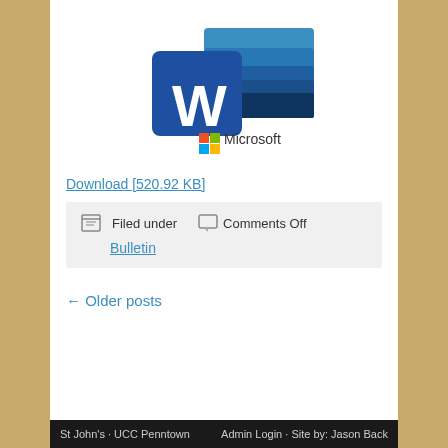[Figure (logo): Microsoft Word logo with blue W icon and Microsoft wordmark with four-color Windows logo]
Download [520.92 KB]
Filed under   Comments Off   Bulletin
← Older posts
St John's · UCC Penntown    Admin Login · Site by: Jason Back